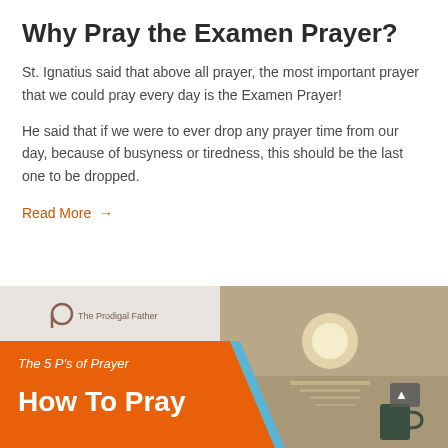Why Pray the Examen Prayer?
St. Ignatius said that above all prayer, the most important prayer that we could pray every day is the Examen Prayer!
He said that if we were to ever drop any prayer time from our day, because of busyness or tiredness, this should be the last one to be dropped.
Read More →
[Figure (illustration): Banner image for 'The 5 P's of Prayer: How To Pray' from The Prodigal Father, showing an orange chevron design on the left with text, and a photo of a sunset over water with a coffee mug on the right.]